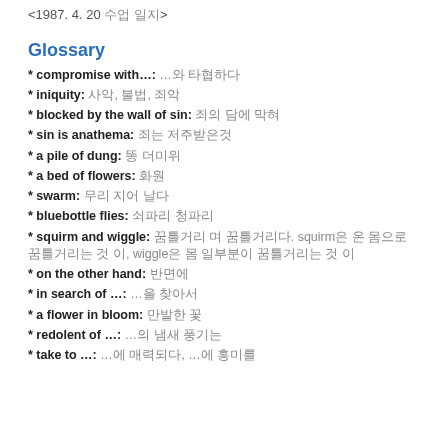<1987. 4. 20 수업 일지>
Glossary
* compromise with…: …와 타협하다
* iniquity: 사악, 불법, 죄악
* blocked by the wall of sin: 죄의 담에 막혀
* sin is anathema: 죄는 저주받은것
* a pile of dung: 똥 더미위
* a bed of flowers: 화원
* swarm: 무리 지어 날다
* bluebottle flies: 쇠파리 청파리
* squirm and wiggle: 꿈틀거리 며 꿈틀거리다. squirm은 온 몸으로 꿈틀거리는 것 이, wiggle은 몸 일부분이 꿈틀거리는 것 이
* on the other hand: 반면에
* in search of …: …을 찾아서
* a flower in bloom: 만발한 꽃
* redolent of …: …의 냄새 풍기는
* take to …: …에 매력되다, …에 흥미를